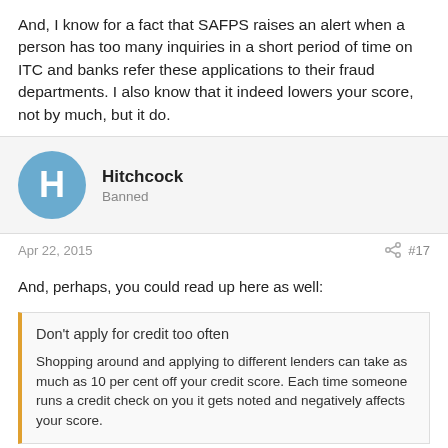And, I know for a fact that SAFPS raises an alert when a person has too many inquiries in a short period of time on ITC and banks refer these applications to their fraud departments. I also know that it indeed lowers your score, not by much, but it do.
Hitchcock
Banned
Apr 22, 2015	#17
And, perhaps, you could read up here as well:
Don't apply for credit too often

Shopping around and applying to different lenders can take as much as 10 per cent off your credit score. Each time someone runs a credit check on you it gets noted and negatively affects your score.
http://www.debtbusters.co.za/article/how-to-improve-your-credit-